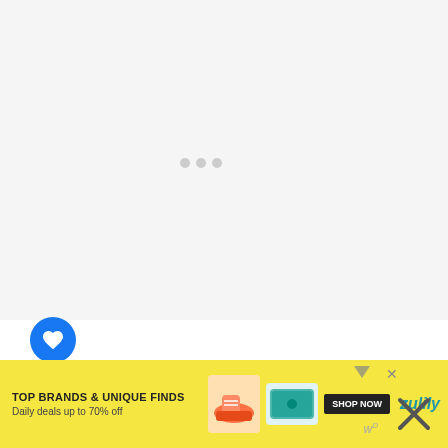[Figure (photo): Large light gray image/loading area at the top of the page, appears to be a mostly white or blank image placeholder]
one of our most recent trips to Montauk, in the Hamptons we drank complimentary h...
[Figure (infographic): Advertisement banner for Zulily: TOP BRANDS & UNIQUE FINDS, Daily deals up to 70% off, SHOP NOW button, with product images of shoes and a teal wallet/purse, yellow background, zulily logo]